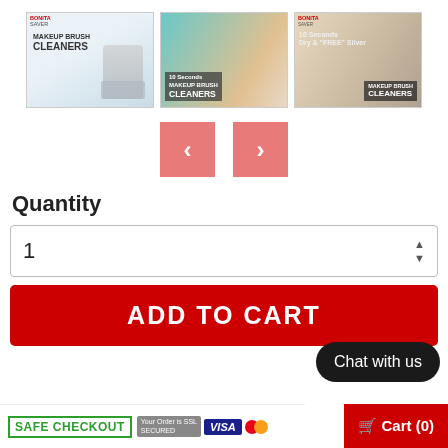[Figure (photo): Three product images of makeup brush cleaner - left shows product with brushes in stand on white background with Bonita brand logo, center shows brushes with cleaner cup closeup, right shows woman holding brushes with product set]
[Figure (screenshot): Navigation buttons - left arrow (previous) and right arrow (next) in salmon/pink color]
Quantity
1
ADD TO CART
Chat with us
SAFE CHECKOUT
Cart (0)